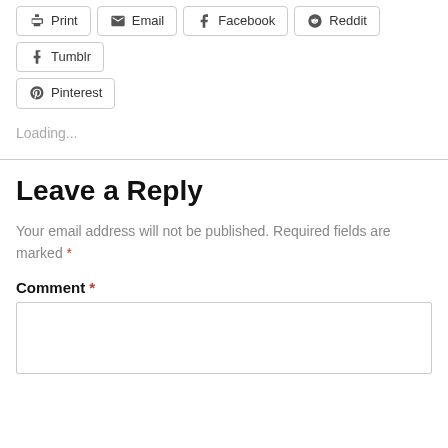Print
Email
Facebook
Reddit
Tumblr
Pinterest
Loading...
Leave a Reply
Your email address will not be published. Required fields are marked *
Comment *